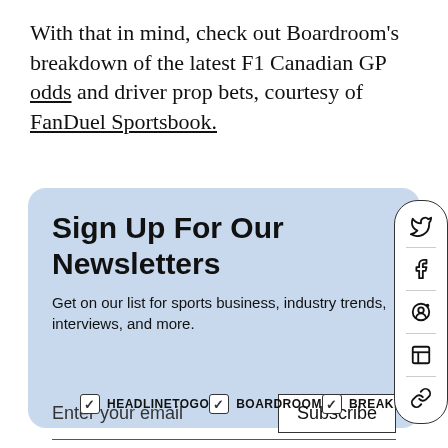With that in mind, check out Boardroom's breakdown of the latest F1 Canadian GP odds and driver prop bets, courtesy of FanDuel Sportsbook.
Sign Up For Our Newsletters
Get on our list for sports business, industry trends, interviews, and more.
Enter your email
Subscribe
HEADLINETOGO
BOARDROOM
BREAKERS